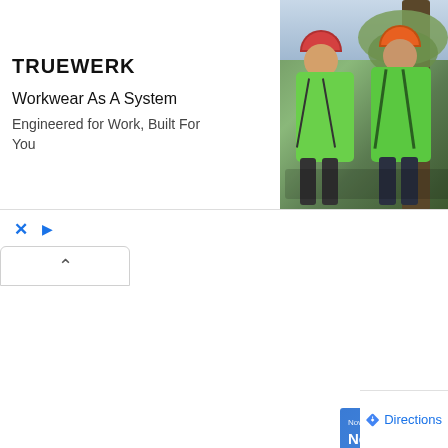[Figure (photo): Advertisement banner for TRUEWERK workwear brand. Shows two workers in bright green high-visibility gear with helmets outdoors near a tree. Ad text reads: 'Workwear As A System / Engineered for Work, Built For You'. Includes TRUEWERK logo and ad controls (X and play icon).]
Now Technologies, Inc.
Now Technologies
We Assist with a Wide Range
[Figure (map): Google Maps view showing street map with roads, intersections, and a yellow highlighted road at the bottom. Green area visible in upper portion.]
Directions